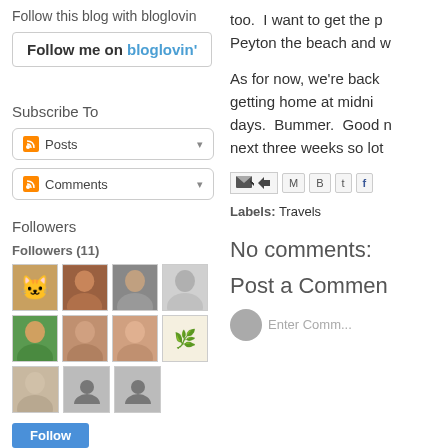Follow this blog with bloglovin
[Figure (screenshot): Follow me on bloglovin button]
Subscribe To
[Figure (screenshot): RSS Posts subscription dropdown]
[Figure (screenshot): RSS Comments subscription dropdown]
Followers
Followers (11)
[Figure (photo): Grid of 11 follower avatar photos]
[Figure (screenshot): Follow button]
too.  I want to get the p Peyton the beach and w
As for now, we're back getting home at midni days.  Bummer.  Good n next three weeks so lot
[Figure (screenshot): Share/email icons row]
Labels: Travels
No comments:
Post a Commen
Enter Comm...